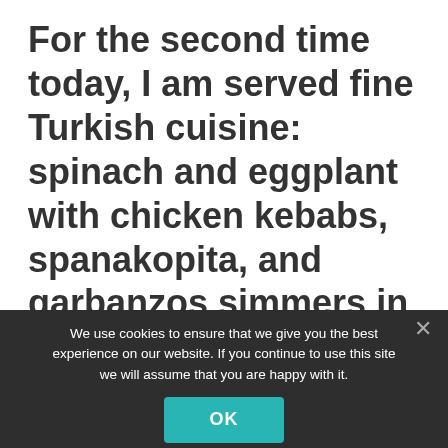For the second time today, I am served fine Turkish cuisine: spinach and eggplant with chicken kebabs, spanakopita, and garbanzos simmers in rich tomato sauce with black olives. I am satiated and stimulated and tired. My jet lag catches up with me and
We use cookies to ensure that we give you the best experience on our website. If you continue to use this site we will assume that you are happy with it.